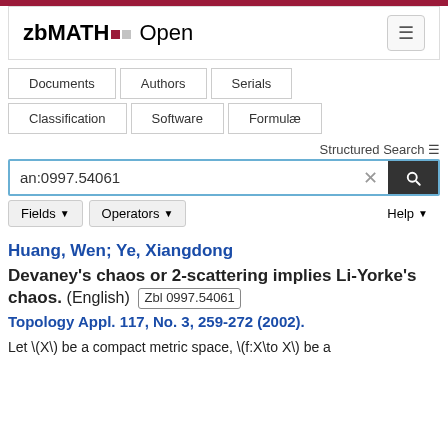zbMATH Open
Documents | Authors | Serials | Classification | Software | Formulae
Structured Search
an:0997.54061
Fields ▾  Operators ▾  Help ▾
Huang, Wen; Ye, Xiangdong
Devaney's chaos or 2-scattering implies Li-Yorke's chaos. (English) Zbl 0997.54061
Topology Appl. 117, No. 3, 259-272 (2002).
Let \(X\) be a compact metric space, \(f:X\to X\) be a